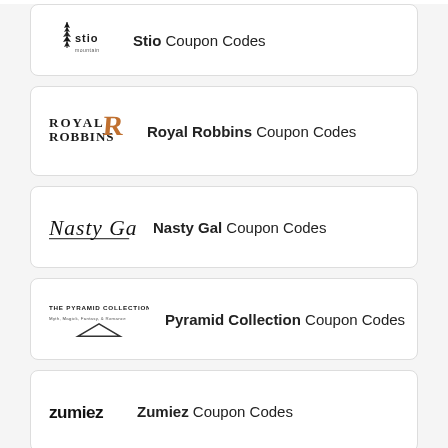Stio Coupon Codes
Royal Robbins Coupon Codes
Nasty Gal Coupon Codes
Pyramid Collection Coupon Codes
Zumiez Coupon Codes